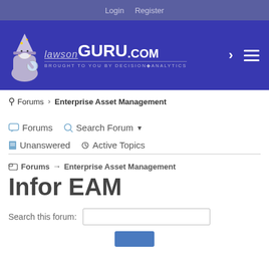Login   Register
[Figure (logo): LawsonGURU.COM logo with wizard character. Text: LAWSONGURU.COM BROUGHT TO YOU BY DECISION ANALYTICS]
Forums › Enterprise Asset Management
Forums   Search Forum ▾
Unanswered   Active Topics
Forums → Enterprise Asset Management
Infor EAM
Search this forum: